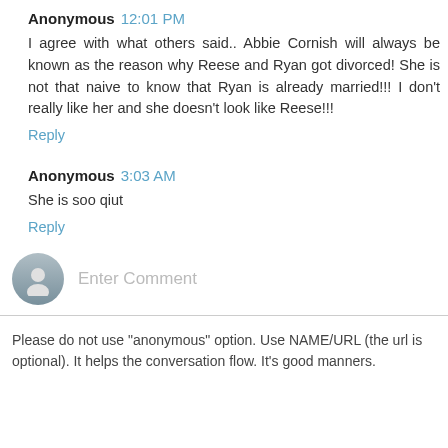Anonymous 12:01 PM
I agree with what others said.. Abbie Cornish will always be known as the reason why Reese and Ryan got divorced! She is not that naive to know that Ryan is already married!!! I don't really like her and she doesn't look like Reese!!!
Reply
Anonymous 3:03 AM
She is soo qiut
Reply
Enter Comment
Please do not use "anonymous" option. Use NAME/URL (the url is optional). It helps the conversation flow. It's good manners.